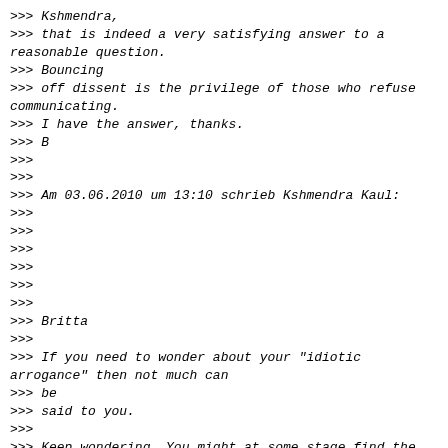>>> Kshmendra,
>>> that is indeed a very satisfying answer to a reasonable question.
>>> Bouncing
>>> off dissent is the privilege of those who refuse communicating.
>>> I have the answer, thanks.
>>> B
>>>
>>>
>>> Am 03.06.2010 um 13:10 schrieb Kshmendra Kaul:
>>>
>>>
>>>
>>>
>>>
>>>
>>> Britta
>>>
>>> If you need to wonder about your "idiotic arrogance" then not much can
>>> be
>>> said to you.
>>>
>>> Keep wondering. You might at some stage find the answer.
>>>
>>> K
>>>
>>>